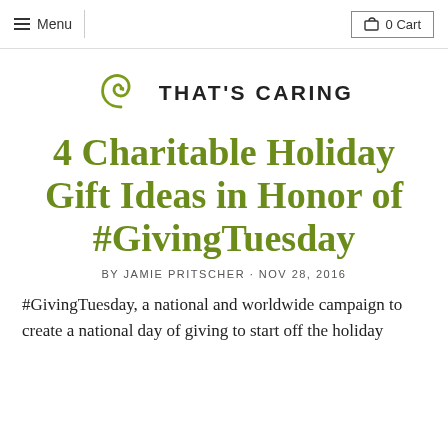Menu  |  0 Cart
[Figure (logo): That's Caring logo with a stylized swirl icon and text THAT'S CARING]
4 Charitable Holiday Gift Ideas in Honor of #GivingTuesday
BY JAMIE PRITSCHER · NOV 28, 2016
#GivingTuesday, a national and worldwide campaign to create a national day of giving to start off the holiday